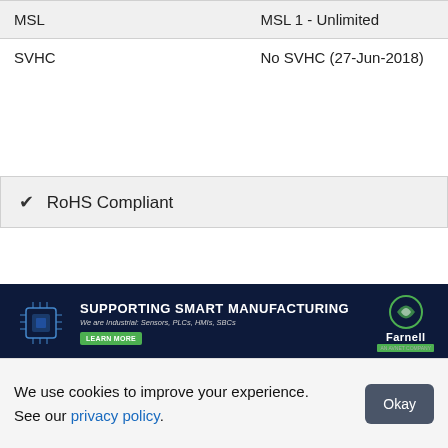| Property | Value |
| --- | --- |
| MSL | MSL 1 - Unlimited |
| SVHC | No SVHC (27-Jun-2018) |
✔ RoHS Compliant
[Figure (infographic): Farnell banner ad: SUPPORTING SMART MANUFACTURING — We are Industrial: Sensors, PLCs, HMIs, SBCs. LEARN MORE button. Farnell logo on right.]
We use cookies to improve your experience. See our privacy policy.